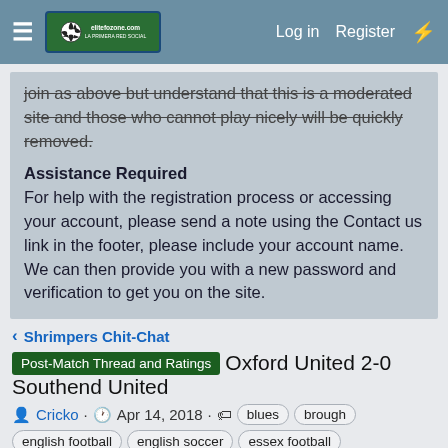≡  [logo]  Log in  Register  ⚡
join as above but understand that this is a moderated site and those who cannot play nicely will be quickly removed.
Assistance Required
For help with the registration process or accessing your account, please send a note using the Contact us link in the footer, please include your account name. We can then provide you with a new password and verification to get you on the site.
< Shrimpers Chit-Chat
Post-Match Thread and Ratings Oxford United 2-0 Southend United
Cricko · Apr 14, 2018 · blues  brough
english football  english soccer  essex football
football  football league  fossets farm  fourth division
ive  league two  lose  npower football league
oxford  rate  real football  roots hall  shrimpers
soccer  southend  southend united  southend-on-sea